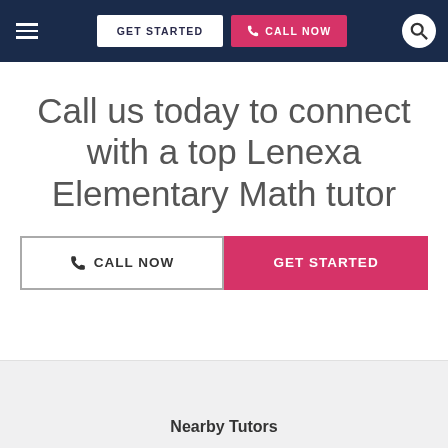GET STARTED | CALL NOW
Call us today to connect with a top Lenexa Elementary Math tutor
CALL NOW | GET STARTED
Nearby Tutors